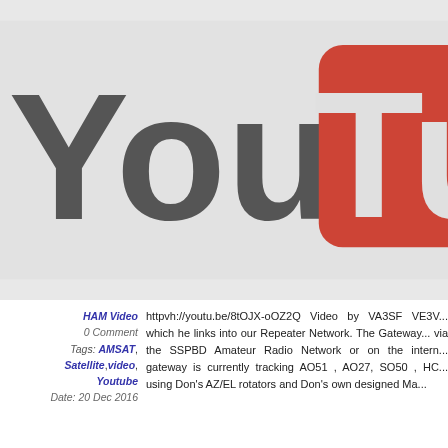[Figure (logo): YouTube logo cropped — showing 'You' in dark grey text and partial red rounded rectangle with 'Tu' in white, on light grey background]
HAM Video
0 Comment
Tags: AMSAT, Satellite, video, Youtube
Date: 20 Dec 2016
httpvh://youtu.be/8tOJX-oOZ2Q Video by VA3SF VE3V... which he links into our Repeater Network. The Gateway... via the SSPBD Amateur Radio Network or on the intern... gateway is currently tracking AO51 , AO27, SO50 , HC... using Don's AZ/EL rotators and Don's own designed Ma...